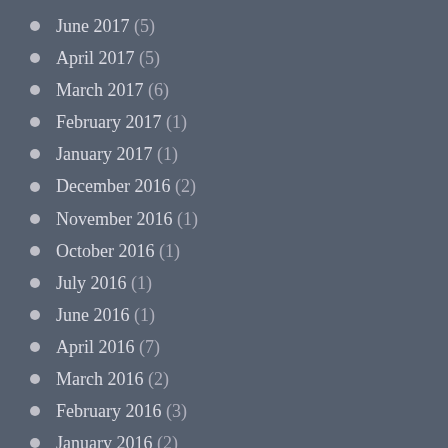June 2017 (5)
April 2017 (5)
March 2017 (6)
February 2017 (1)
January 2017 (1)
December 2016 (2)
November 2016 (1)
October 2016 (1)
July 2016 (1)
June 2016 (1)
April 2016 (7)
March 2016 (2)
February 2016 (3)
January 2016 (2)
December 2015 (3)
August 2015 (1)